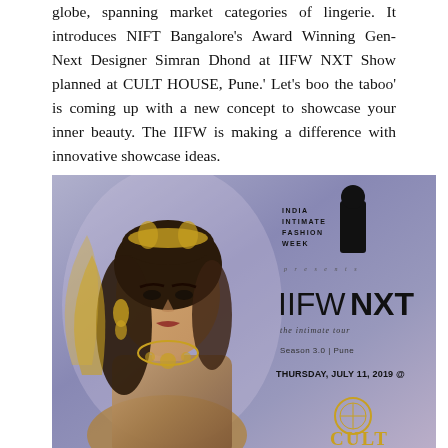globe, spanning market categories of lingerie. It introduces NIFT Bangalore's Award Winning Gen-Next Designer Simran Dhond at IIFW NXT Show planned at CULT HOUSE, Pune.' Let's boo the taboo' is coming up with a new concept to showcase your inner beauty. The IIFW is making a difference with innovative showcase ideas.
[Figure (photo): A promotional image for IIFW NXT show. On the left, a woman with long dark hair wearing gold jewelry and accessories poses against a lavender/purple background. On the right side, text reads: INDIA INTIMATE FASHION WEEK presents IIFW NXT the intimate tour Season 3.0 | Pune THURSDAY, JULY 11, 2019 @ and at the bottom a CULT logo with golden text.]